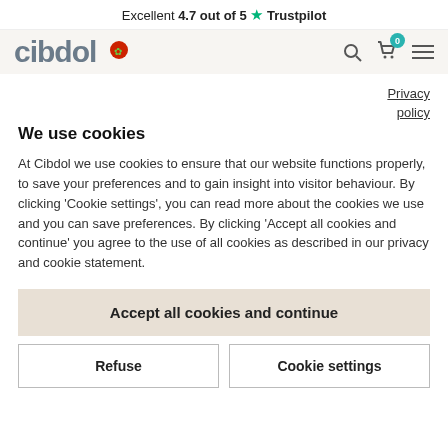Excellent 4.7 out of 5 ★ Trustpilot
[Figure (screenshot): Cibdol website navigation bar with logo, search icon, cart with badge showing 0, and hamburger menu]
Privacy policy
We use cookies
At Cibdol we use cookies to ensure that our website functions properly, to save your preferences and to gain insight into visitor behaviour. By clicking 'Cookie settings', you can read more about the cookies we use and you can save preferences. By clicking 'Accept all cookies and continue' you agree to the use of all cookies as described in our privacy and cookie statement.
Accept all cookies and continue
Refuse
Cookie settings